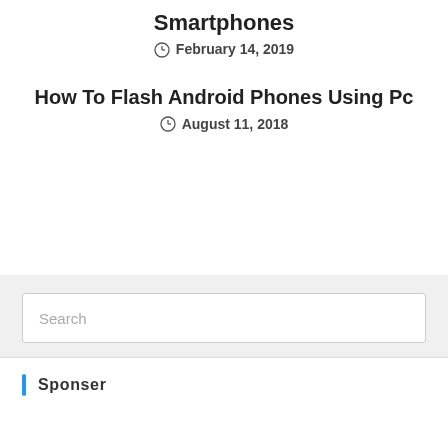Smartphones
February 14, 2019
How To Flash Android Phones Using Pc
August 11, 2018
Search
Sponser
Categories
Blogger Tips